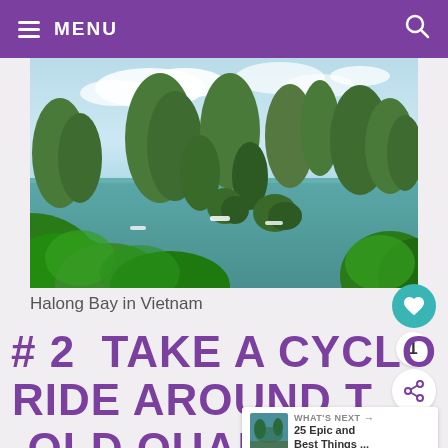≡ MENU
[Figure (photo): Aerial view of Halong Bay in Vietnam showing limestone karst islands rising from turquoise-green water, with lush green vegetation in the foreground and boats visible on the water.]
Halong Bay in Vietnam
# 2  TAKE A CYCLO RIDE AROUND THE OLD QUARTER IN
WHAT'S NEXT → 25 Epic and Best Things ...